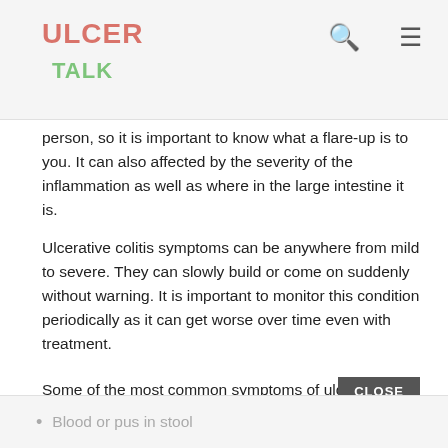ULCER TALK
person, so it is important to know what a flare-up is to you. It can also affected by the severity of the inflammation as well as where in the large intestine it is.
Ulcerative colitis symptoms can be anywhere from mild to severe. They can slowly build or come on suddenly without warning. It is important to monitor this condition periodically as it can get worse over time even with treatment.
Some of the most common symptoms of ulcerative colitis are:
Blood or pus in stool